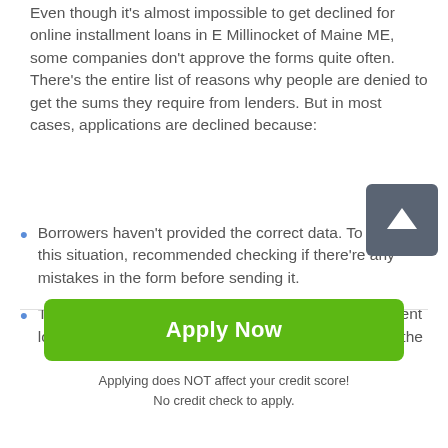Even though it's almost impossible to get declined for online installment loans in E Millinocket of Maine ME, some companies don't approve the forms quite often. There's the entire list of reasons why people are denied to get the sums they require from lenders. But in most cases, applications are declined because:
Borrowers haven't provided the correct data. To avoid this situation, recommended checking if there're any mistakes in the form before sending it.
The income isn't enough. To be approved for installment loans, people ought to get at least $1000 per month (the
[Figure (other): Scroll-to-top button: dark grey rounded square with white upward arrow icon]
Apply Now
Applying does NOT affect your credit score!
No credit check to apply.